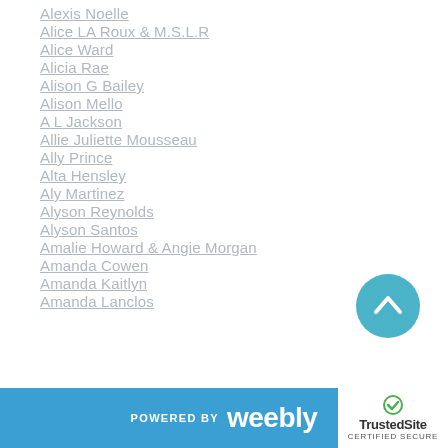Alexis Noelle
Alice LA Roux & M.S.L.R
Alice Ward
Alicia Rae
Alison G Bailey
Alison Mello
A L Jackson
Allie Juliette Mousseau
Ally Prince
Alta Hensley
Aly Martinez
Alyson Reynolds
Alyson Santos
Amalie Howard & Angie Morgan
Amanda Cowen
Amanda Kaitlyn
Amanda Lanclos
[Figure (illustration): Teal circular scroll-to-top button with upward chevron arrow]
POWERED BY weebly | TrustedSite CERTIFIED SECURE